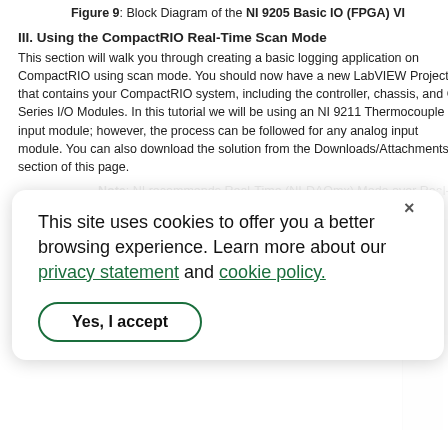Figure 9: Block Diagram of the NI 9205 Basic IO (FPGA) VI
III. Using the CompactRIO Real-Time Scan Mode
This section will walk you through creating a basic logging application on CompactRIO using scan mode. You should now have a new LabVIEW Project that contains your CompactRIO system, including the controller, chassis, and C Series I/O Modules. In this tutorial we will be using an NI 9211 Thermocouple input module; however, the process can be followed for any analog input module. You can also download the solution from the Downloads/Attachments section of this page.
Note: NI recommends Real-Time (NI-DAQmx) Mode over Real-Time Scan (I/O Variable) Mode.
1. Save the project by selecting File»Save in the top left corner.
[Figure (screenshot): Cookie consent overlay with text 'This site uses cookies to offer you a better browsing experience. Learn more about our privacy statement and cookie policy.' with a 'Yes, I accept' button.]